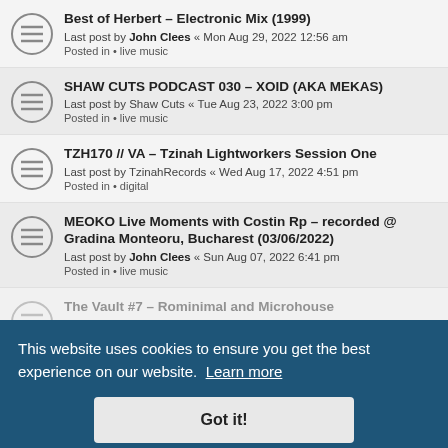Best of Herbert - Electronic Mix (1999)
Last post by John Clees « Mon Aug 29, 2022 12:56 am
Posted in • live music
SHAW CUTS PODCAST 030 - XOID (AKA MEKAS)
Last post by Shaw Cuts « Tue Aug 23, 2022 3:00 pm
Posted in • live music
TZH170 // VA - Tzinah Lightworkers Session One
Last post by TzinahRecords « Wed Aug 17, 2022 4:51 pm
Posted in • digital
MEOKO Live Moments with Costin Rp - recorded @ Gradina Monteoru, Bucharest (03/06/2022)
Last post by John Clees « Sun Aug 07, 2022 6:41 pm
Posted in • live music
The Vault #7 - Rominimal and Microhouse
Posted in • producers
TZH168 // Jema Markovsky's Train EP Incl. Costin Rp
Last post by TzinahRecords « Thu Aug 04, 2022 1:16 pm
Posted in • digital
This website uses cookies to ensure you get the best experience on our website. Learn more
Got it!